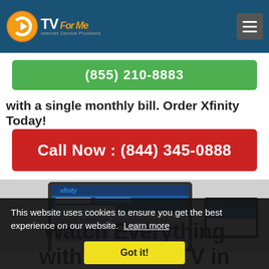CTV For Me - Internet Service Providers
(855) 210-8883
with a single monthly bill. Order Xfinity Today!
Call Now : (844) 345-0888
[Figure (screenshot): Xfinity website displayed on laptop and tablet devices]
This website uses cookies to ensure you get the best experience on our website. Learn more
Got it!
Watch Everything
with XFINITY TV in